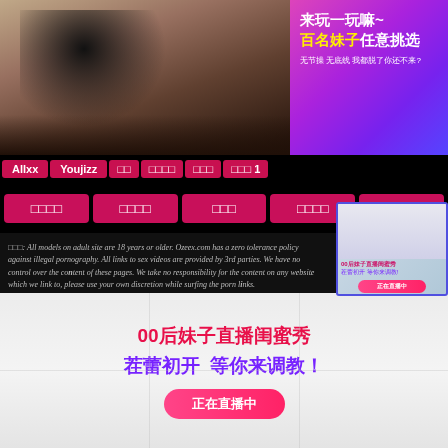[Figure (photo): Woman in black dress lying on white cushion near window]
[Figure (infographic): Pink/purple gradient ad banner with Chinese text: 来玩一玩嘛~ 百名妹子任意挑选 无节操 无底线 我都脱了你还不来?]
Allxx  Youjizz  □□  □□□□  □□□  □□□ 1
□□□□  □□□□  □□□  □□□□  □□□□
□□□: All models on adult site are 18 years or older. Ozeex.com has a zero tolerance policy against illegal pornography. All links to sex videos are provided by 3rd parties. We have no control over the content of these pages. We take no responsibility for the content on any website which we link to, please use your own discretion while surfing the porn links.
[Figure (infographic): Bottom banner ad with white background, Chinese text: 00后妹子直播闺蜜秀 茬蕾初开 等你来调教！正在直播中]